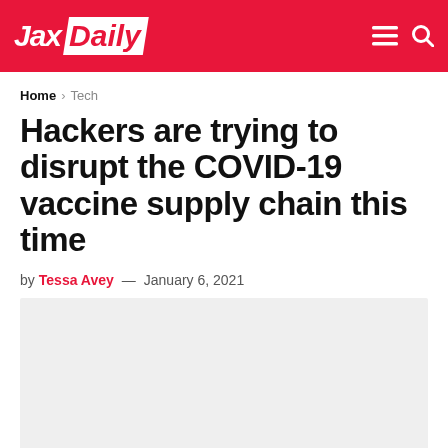Jax Daily
Home > Tech
Hackers are trying to disrupt the COVID-19 vaccine supply chain this time
by Tessa Avey — January 6, 2021
[Figure (photo): Article hero image placeholder (light gray background)]